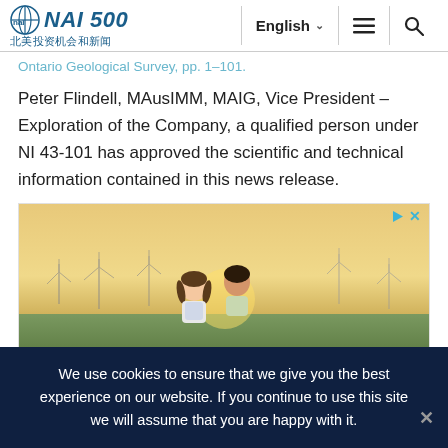NAI 500 北美投资机会和新闻 | English
Ontario Geological Survey, pp. 1-101.
Peter Flindell, MAusIMM, MAIG, Vice President – Exploration of the Company, a qualified person under NI 43-101 has approved the scientific and technical information contained in this news release.
[Figure (photo): Two children viewed from behind standing in a field of wind turbines at sunset, one child with braided pigtails, the other with short dark hair.]
We use cookies to ensure that we give you the best experience on our website. If you continue to use this site we will assume that you are happy with it.